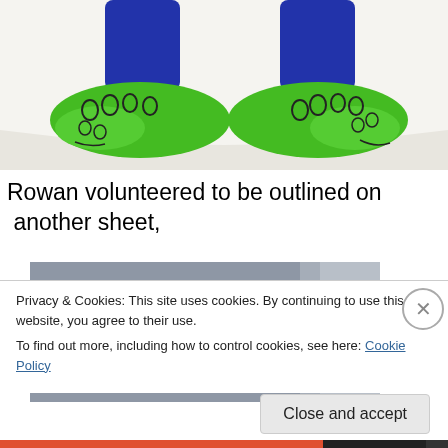[Figure (illustration): Child's crayon drawing showing the lower legs and green shoes/sneakers of a figure, with blue pants, on a curved white paper surface.]
Rowan volunteered to be outlined on  another sheet,
[Figure (photo): Photograph of a gray/blue wall or paper background, mostly empty, slightly lighter on the right side.]
Privacy & Cookies: This site uses cookies. By continuing to use this website, you agree to their use.
To find out more, including how to control cookies, see here: Cookie Policy
Close and accept